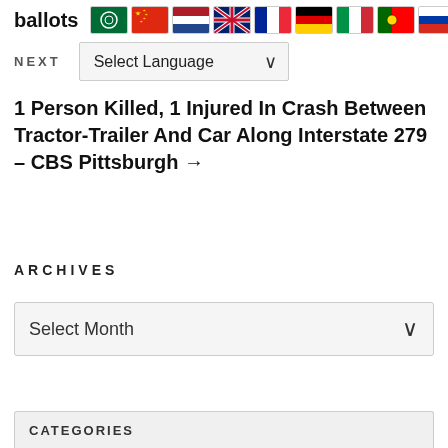ballots [flags: Arabic, Chinese, Dutch, British, French, German, Italian, Portuguese, Russian, Spanish]
NEXT  Select Language
1 Person Killed, 1 Injured In Crash Between Tractor-Trailer And Car Along Interstate 279 – CBS Pittsburgh →
ARCHIVES
Select Month